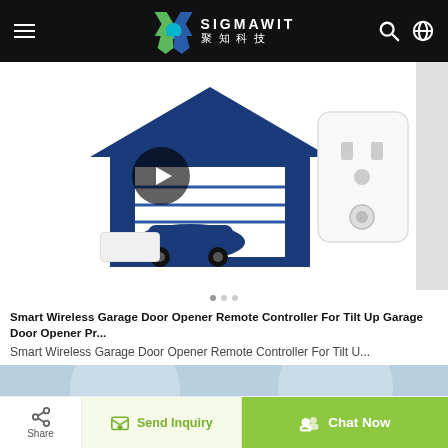[Figure (logo): Sigmawit logo with colorful X emblem and Chinese/English text on black header bar]
[Figure (photo): Smart Wireless Garage Door Opener product image showing a smart plug device and a garage illustration with a video play button overlay]
Smart Wireless Garage Door Opener Remote Controller For Tilt Up Garage Door Opener Pr...
Smart Wireless Garage Door Opener Remote Controller For Tilt U...
[Figure (photo): Light blue banner strip with circular highlight effects at the bottom of the product listing page]